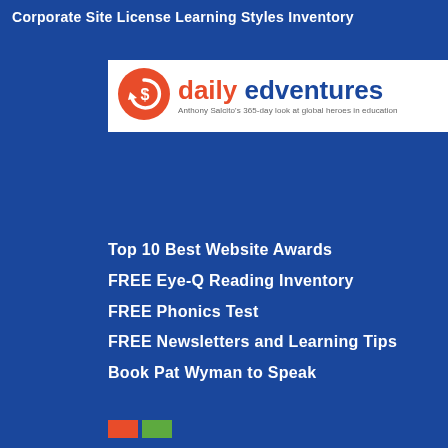Corporate Site License Learning Styles Inventory
[Figure (logo): Daily Edventures logo — orange circular arrow icon with the text 'daily edventures' in blue and a tagline 'Anthony Salcito's 365-day look at global heroes in education']
Top 10 Best Website Awards
FREE Eye-Q Reading Inventory
FREE Phonics Test
FREE Newsletters and Learning Tips
Book Pat Wyman to Speak